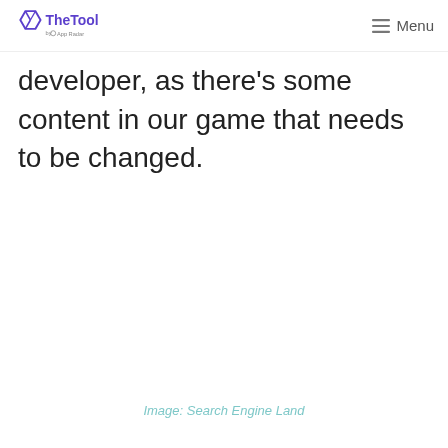TheTool by App Radar — Menu
developer, as there's some content in our game that needs to be changed.
Image: Search Engine Land